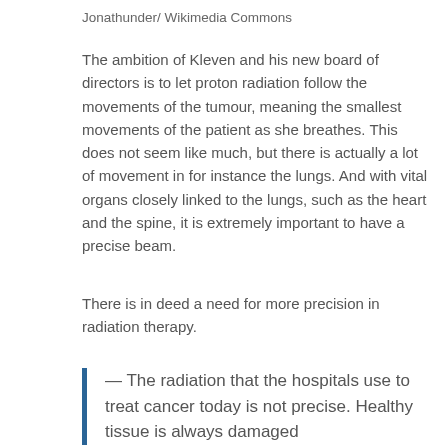Jonathunder/ Wikimedia Commons
The ambition of Kleven and his new board of directors is to let proton radiation follow the movements of the tumour, meaning the smallest movements of the patient as she breathes. This does not seem like much, but there is actually a lot of movement in for instance the lungs. And with vital organs closely linked to the lungs, such as the heart and the spine, it is extremely important to have a precise beam.
There is in deed a need for more precision in radiation therapy.
— The radiation that the hospitals use to treat cancer today is not precise. Healthy tissue is always damaged